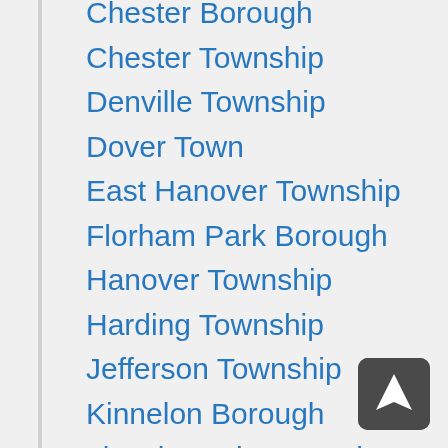Chester Borough
Chester Township
Denville Township
Dover Town
East Hanover Township
Florham Park Borough
Hanover Township
Harding Township
Jefferson Township
Kinnelon Borough
Lincoln Park Borough
Long Hill Township
Madison Borough
Mendham Borough